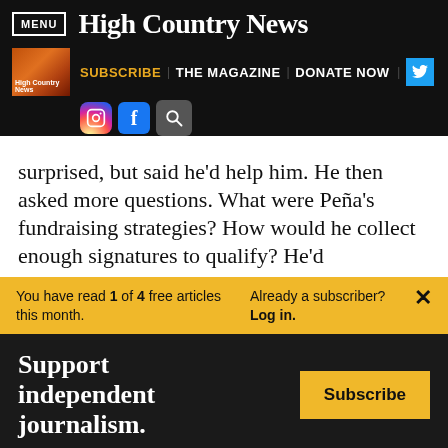MENU | High Country News
SUBSCRIBE | THE MAGAZINE | DONATE NOW
surprised, but said he’d help him. He then asked more questions. What were Peña’s fundraising strategies? How would he collect enough signatures to qualify? He’d
You have read 1 of 4 free articles this month. Already a subscriber? Log in.
Support independent journalism. Subscribe